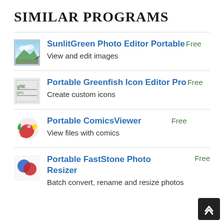SIMILAR PROGRAMS
SunlitGreen Photo Editor Portable Free
View and edit images
Portable Greenfish Icon Editor Pro Free
Create custom icons
Portable ComicsViewer Free
View files with comics
Portable FastStone Photo Resizer Free
Batch convert, rename and resize photos